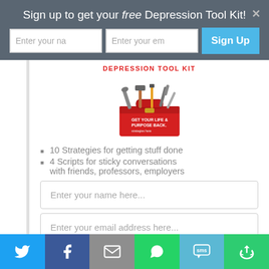Sign up to get your free Depression Tool Kit!
[Figure (screenshot): Sign-up form banner with name field, email field, and Sign Up button on dark gray background]
[Figure (illustration): Red toolbox illustration with tools sticking out, labeled DEPRESSION TOOL KIT in red text]
10 Strategies for getting stuff done
4 Scripts for sticky conversations with friends, professors, employers
Enter your name here...
Enter your email address here...
[Figure (infographic): Social sharing bar with Twitter, Facebook, Email, WhatsApp, SMS, and share icons]